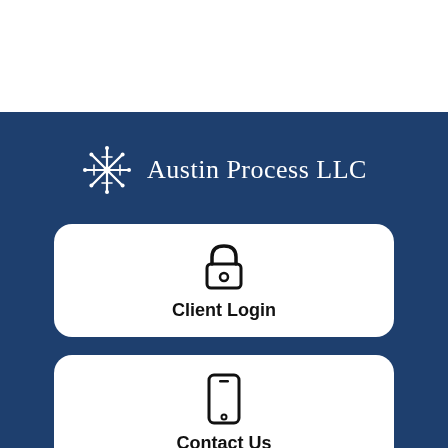[Figure (logo): Austin Process LLC logo — snowflake/starburst icon in white next to text 'Austin Process LLC' in white serif font, on dark blue background]
[Figure (other): White rounded rectangle card containing a padlock icon and the text 'Client Login']
[Figure (other): White rounded rectangle card containing a mobile phone icon and the text 'Contact Us']